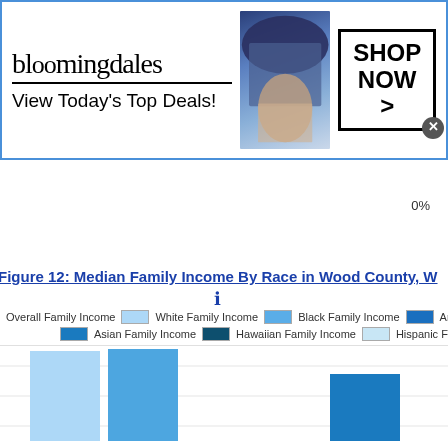[Figure (screenshot): Bloomingdales advertisement banner: 'View Today's Top Deals!' with SHOP NOW button and close X]
0%
Figure 12: Median Family Income By Race in Wood County, W
[Figure (bar-chart): Median Family Income By Race in Wood County]
[Figure (screenshot): Groupon advertisement: 'Groupon Official Site | Online Shopping Deals - Discover & Save with Over 300k of the Best Deals - www.groupon.com']